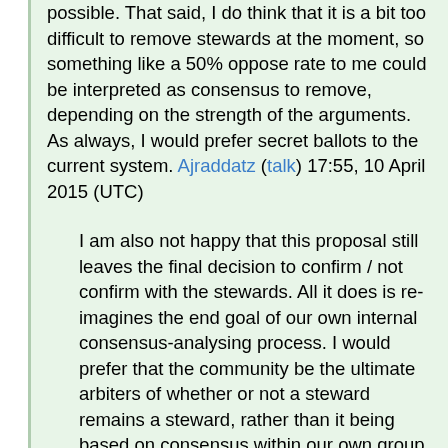possible. That said, I do think that it is a bit too difficult to remove stewards at the moment, so something like a 50% oppose rate to me could be interpreted as consensus to remove, depending on the strength of the arguments. As always, I would prefer secret ballots to the current system. Ajraddatz (talk) 17:55, 10 April 2015 (UTC)
I am also not happy that this proposal still leaves the final decision to confirm / not confirm with the stewards. All it does is re-imagines the end goal of our own internal consensus-analysing process. I would prefer that the community be the ultimate arbiters of whether or not a steward remains a steward, rather than it being based on consensus within our own group. Ultimately I'm not sure how I would like steward confirmations to run - I think the current system favours stewards who are barely active, and I would like more qualitative evaluation